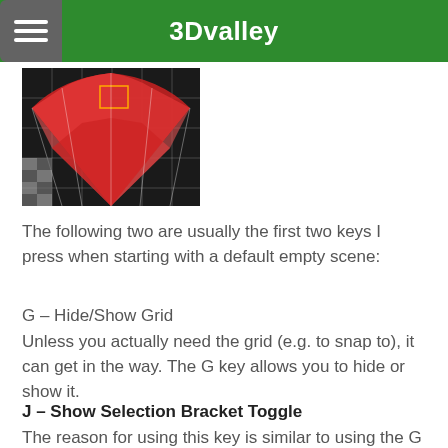3Dvalley
[Figure (screenshot): A screenshot showing a 3D Studio MAX viewport with red geometry and grid overlays on a dark background.]
The following two are usually the first two keys I press when starting with a default empty scene:
G – Hide/Show Grid
Unless you actually need the grid (e.g. to snap to), it can get in the way. The G key allows you to hide or show it.
J – Show Selection Bracket Toggle
The reason for using this key is similar to using the G key. By default, 3D Studio MAX shows a selection